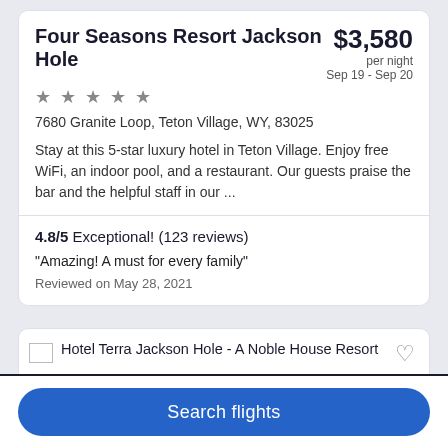Four Seasons Resort Jackson Hole
$3,580 per night Sep 19 - Sep 20
★★★★★
7680 Granite Loop, Teton Village, WY, 83025
Stay at this 5-star luxury hotel in Teton Village. Enjoy free WiFi, an indoor pool, and a restaurant. Our guests praise the bar and the helpful staff in our ...
4.8/5 Exceptional! (123 reviews)
"Amazing! A must for every family"
Reviewed on May 28, 2021
[Figure (screenshot): Hotel Terra Jackson Hole - A Noble House Resort listing card with heart/favorite icon]
Search flights